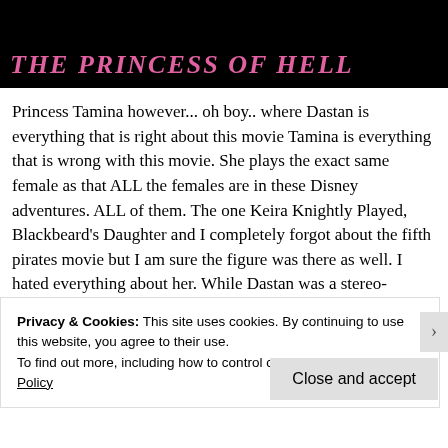[Figure (other): Black header image with pink italic bold title text 'THE PRINCESS OF HELL']
Princess Tamina however... oh boy.. where Dastan is everything that is right about this movie Tamina is everything that is wrong with this movie. She plays the exact same female as that ALL the females are in these Disney adventures. ALL of them. The one Keira Knightly Played, Blackbeard's Daughter and I completely forgot about the fifth pirates movie but I am sure the figure was there as well. I hated everything about her. While Dastan was a stereo-
Privacy & Cookies: This site uses cookies. By continuing to use this website, you agree to their use.
To find out more, including how to control cookies, see here: Cookie Policy
Close and accept